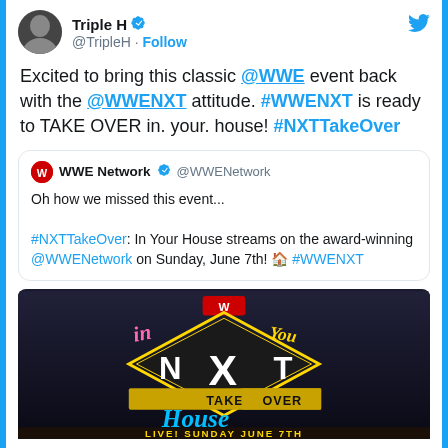[Figure (screenshot): Twitter/X screenshot of a tweet by Triple H (@TripleH) with a quoted tweet from WWE Network (@WWENetwork) about NXT TakeOver: In Your House event]
Triple H @TripleH · Follow
Excited to bring this classic @WWE event back with the @WWENXT attitude. #WWENXT is ready to TAKE OVER in. your. house! #NXTTakeOver
WWE Network @WWENetwork
Oh how we missed this event...

#NXTTakeOver: In Your House streams on the award-winning @WWENetwork on Sunday, June 7th! 🏠 #WWENXT
[Figure (photo): NXT TakeOver: In Your House promotional image with colorful logo text and 'LIVE! SUNDAY JUNE 7TH' text at the bottom]